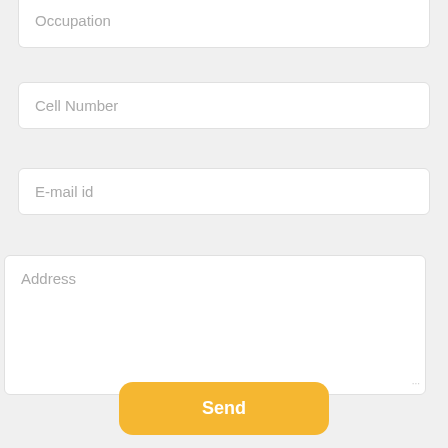Occupation
Cell Number
E-mail id
Address
Send